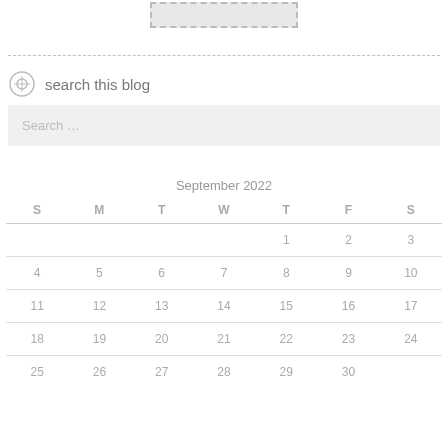[Figure (other): A small dashed-border placeholder image box at the top center of the page]
search this blog
Search ...
| S | M | T | W | T | F | S |
| --- | --- | --- | --- | --- | --- | --- |
|  |  |  |  | 1 | 2 | 3 |
| 4 | 5 | 6 | 7 | 8 | 9 | 10 |
| 11 | 12 | 13 | 14 | 15 | 16 | 17 |
| 18 | 19 | 20 | 21 | 22 | 23 | 24 |
| 25 | 26 | 27 | 28 | 29 | 30 |  |